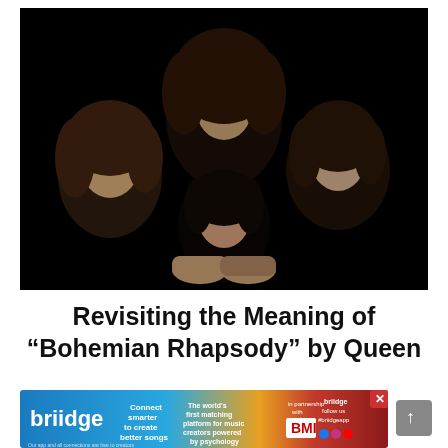[Figure (photo): Black and white promotional photo of the band Queen – four members with dark curly hair arranged close together against a black background, the iconic Bohemian Rhapsody / Queen II album cover style image.]
Revisiting the Meaning of “Bohemian Rhapsody” by Queen
[Figure (infographic): Briidge app advertisement banner with colorful gradient background featuring logo, tagline 'Connect smarter to create better songs', BMI partnership logo, social icons, and a close button.]